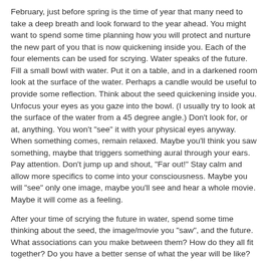February, just before spring is the time of year that many need to take a deep breath and look forward to the year ahead. You might want to spend some time planning how you will protect and nurture the new part of you that is now quickening inside you. Each of the four elements can be used for scrying. Water speaks of the future. Fill a small bowl with water. Put it on a table, and in a darkened room look at the surface of the water. Perhaps a candle would be useful to provide some reflection. Think about the seed quickening inside you. Unfocus your eyes as you gaze into the bowl. (I usually try to look at the surface of the water from a 45 degree angle.) Don't look for, or at, anything. You won't "see" it with your physical eyes anyway. When something comes, remain relaxed. Maybe you'll think you saw something, maybe that triggers something aural through your ears. Pay attention. Don't jump up and shout, "Far out!" Stay calm and allow more specifics to come into your consciousness. Maybe you will "see" only one image, maybe you'll see and hear a whole movie. Maybe it will come as a feeling.
After your time of scrying the future in water, spend some time thinking about the seed, the image/movie you "saw", and the future. What associations can you make between them? How do they all fit together? Do you have a better sense of what the year will be like?